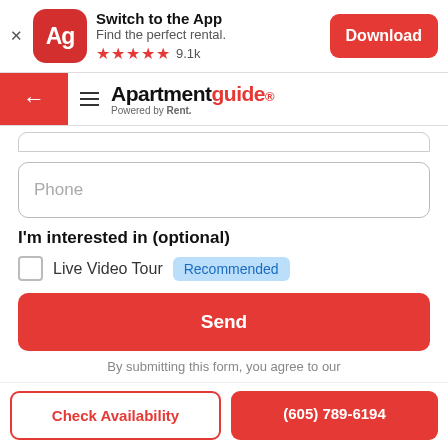[Figure (screenshot): App download banner with Ag icon, Switch to the App text, 5 stars rating 9.1k, and red Download button]
[Figure (screenshot): Navigation bar with red back arrow, hamburger menu, and ApartmentGuide logo powered by Rent]
Phone
I'm interested in (optional)
Live Video Tour Recommended
Send
By submitting this form, you agree to our
Check Availability
(605) 789-6194